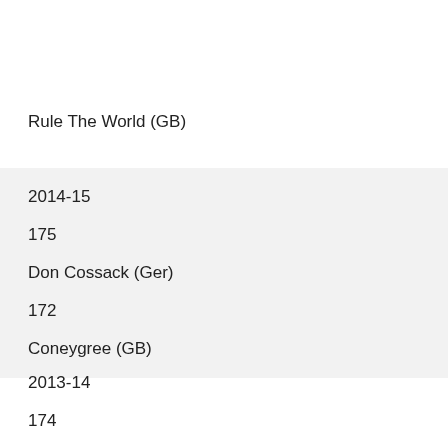Rule The World (GB)
2014-15
175
Don Cossack (Ger)
172
Coneygree (GB)
2013-14
174